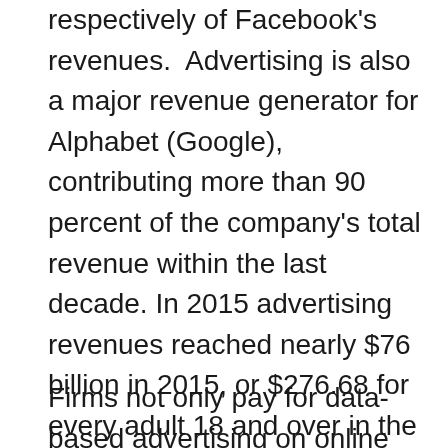respectively of Facebook's revenues.  Advertising is also a major revenue generator for Alphabet (Google), contributing more than 90 percent of the company's total revenue within the last decade. In 2015 advertising revenues reached nearly $76 billion in 2015, or $276.68 for every adult 18 and over in the U.S.
Firms not only pay for data-based advertising on online platforms